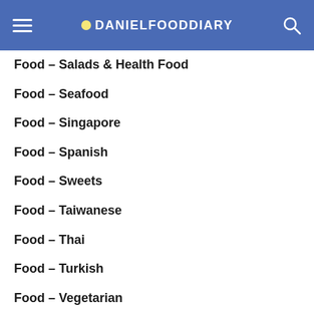DANIELFOODDIARY
Food – Salads & Health Food
Food – Seafood
Food – Singapore
Food – Spanish
Food – Sweets
Food – Taiwanese
Food – Thai
Food – Turkish
Food – Vegetarian
Food – Vietnamese
Food – Western
Overseas
Overseas – Australia
Overseas – Bali